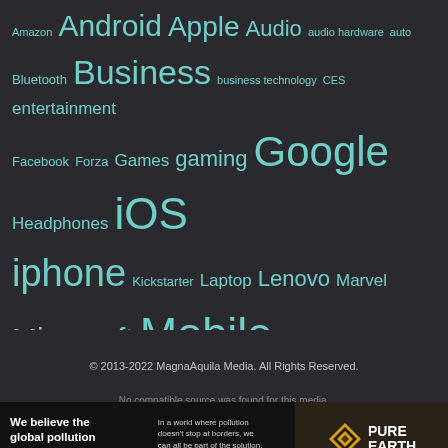[Figure (infographic): Tag cloud of technology topics on dark background. Tags shown in teal/cyan color at varying sizes indicating frequency. Tags include: Amazon, Android, Apple, Audio, audio hardware, auto, Bluetooth, Business, business technology, CES, entertainment, Facebook, Forza, Games, gaming, Google, Headphones, iOS, iphone, Kickstarter, Laptop, Lenovo, Marvel, Microsoft, Mobile, movies, music, Netflix, Netflix Canada, Playstation 4, Privacy, Razer, Review, Reviews, Samsung, Security, Smartphone, Sony, Star Wars, tech, technology, TV, Windows 10, Xbox, Xbox One]
© 2013-2022 MagnaAquila Media. All Rights Reserved.
No compatible source was found for this media.
[Figure (infographic): Advertisement banner for Pure Earth. Left side: dark background with text 'We believe the global pollution crisis can be solved.' and smaller text 'In a world where pollution doesn't stop at borders, we can all be part of the solution. JOIN US.' Right side: Pure Earth logo with diamond/chevron icon.]